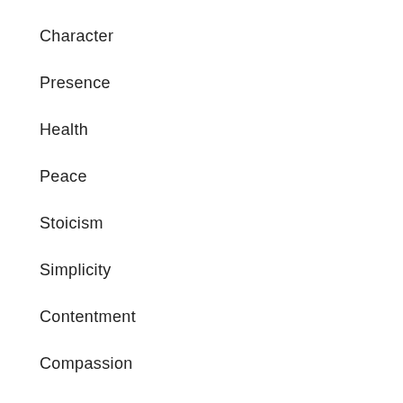Character
Presence
Health
Peace
Stoicism
Simplicity
Contentment
Compassion